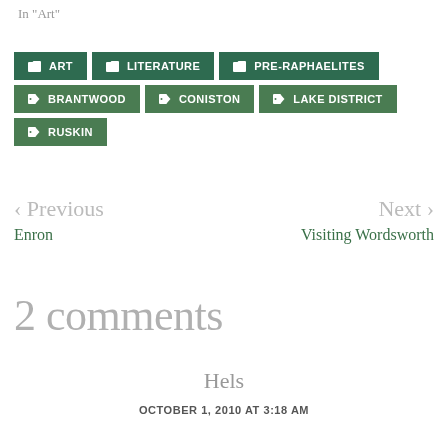In "Art"
ART
LITERATURE
PRE-RAPHAELITES
BRANTWOOD
CONISTON
LAKE DISTRICT
RUSKIN
< Previous
Enron
Next >
Visiting Wordsworth
2 comments
Hels
OCTOBER 1, 2010 AT 3:18 AM